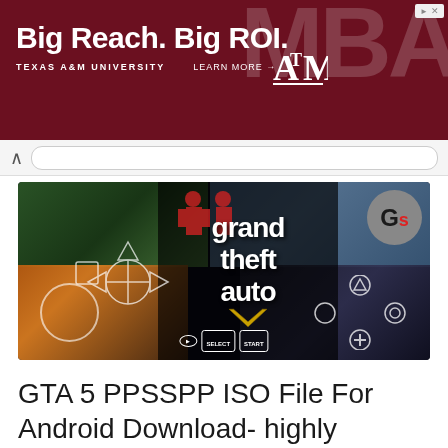[Figure (screenshot): Texas A&M University MBA advertisement banner with text 'Big Reach. Big ROI.' on dark maroon background with ATM logo and MBA text]
[Figure (screenshot): Browser address bar UI element with chevron/back button]
[Figure (screenshot): GTA 5 (Grand Theft Auto V) game promotional image showing the game logo with PSP controller overlay UI elements and a 'Gs' channel logo in top right corner]
GTA 5 PPSSPP ISO File For Android Download- highly compressed